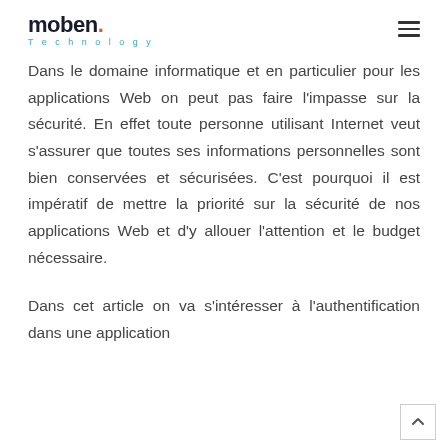moben. Technology
Dans le domaine informatique et en particulier pour les applications Web on peut pas faire l'impasse sur la sécurité. En effet toute personne utilisant Internet veut s'assurer que toutes ses informations personnelles sont bien conservées et sécurisées. C'est pourquoi il est impératif de mettre la priorité sur la sécurité de nos applications Web et d'y allouer l'attention et le budget nécessaire.
Dans cet article on va s'intéresser à l'authentification dans une application